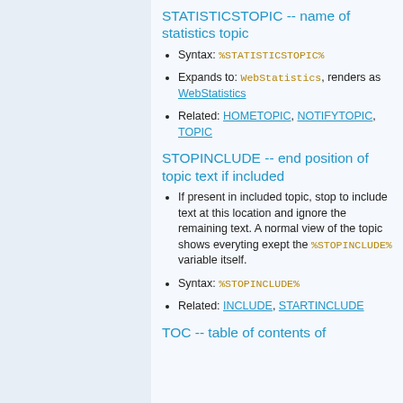STATISTICSTOPIC -- name of statistics topic
Syntax: %STATISTICSTOPIC%
Expands to: WebStatistics, renders as WebStatistics
Related: HOMETOPIC, NOTIFYTOPIC, TOPIC
STOPINCLUDE -- end position of topic text if included
If present in included topic, stop to include text at this location and ignore the remaining text. A normal view of the topic shows everyting exept the %STOPINCLUDE% variable itself.
Syntax: %STOPINCLUDE%
Related: INCLUDE, STARTINCLUDE
TOC -- table of contents of